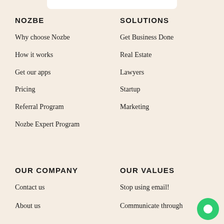NOZBE
Why choose Nozbe
How it works
Get our apps
Pricing
Referral Program
Nozbe Expert Program
SOLUTIONS
Get Business Done
Real Estate
Lawyers
Startup
Marketing
OUR COMPANY
Contact us
About us
OUR VALUES
Stop using email!
Communicate through